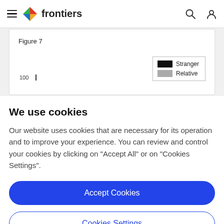frontiers
Figure 7
[Figure (other): Partially visible bar chart with legend showing 'Stranger' (black) and 'Relative' (gray) categories. Y-axis shows value 100. Chart is cropped.]
We use cookies
Our website uses cookies that are necessary for its operation and to improve your experience. You can review and control your cookies by clicking on "Accept All" or on "Cookies Settings".
Accept Cookies
Cookies Settings